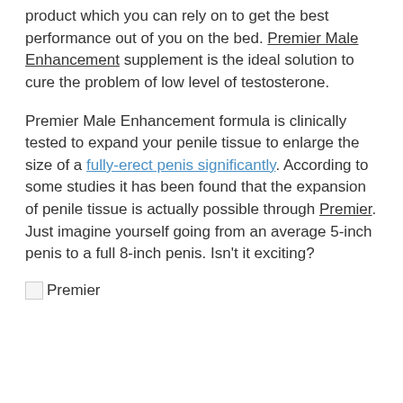product which you can rely on to get the best performance out of you on the bed. Premier Male Enhancement supplement is the ideal solution to cure the problem of low level of testosterone.
Premier Male Enhancement formula is clinically tested to expand your penile tissue to enlarge the size of a fully-erect penis significantly. According to some studies it has been found that the expansion of penile tissue is actually possible through Premier. Just imagine yourself going from an average 5-inch penis to a full 8-inch penis. Isn't it exciting?
[Figure (other): Broken image placeholder with alt text 'Premier']